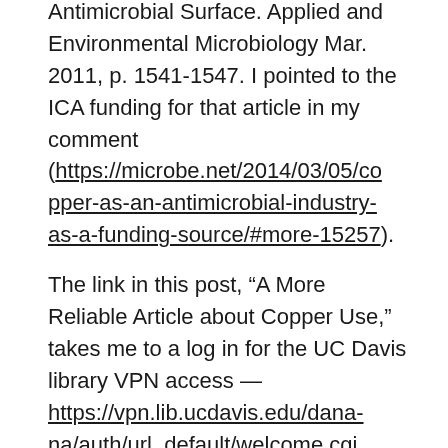Antimicrobial Surface. Applied and Environmental Microbiology Mar. 2011, p. 1541-1547. I pointed to the ICA funding for that article in my comment (https://microbe.net/2014/03/05/copper-as-an-antimicrobial-industry-as-a-funding-source/#more-15257).
The link in this post, "A More Reliable Article about Copper Use," takes me to a log in for the UC Davis library VPN access — https://vpn.lib.ucdavis.edu/dana-na/auth/url_default/welcome.cgi. That login seems to require an